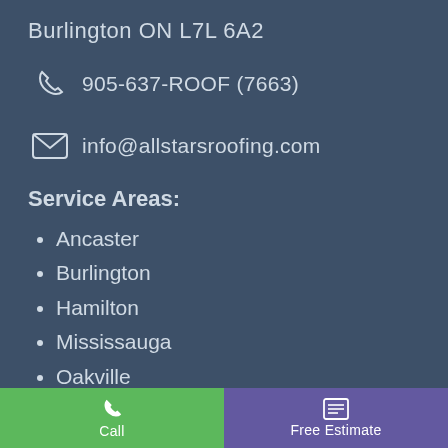Burlington ON L7L 6A2
905-637-ROOF (7663)
info@allstarsroofing.com
Service Areas:
Ancaster
Burlington
Hamilton
Mississauga
Oakville
Stoney Creek
Waterdown
Call | Free Estimate